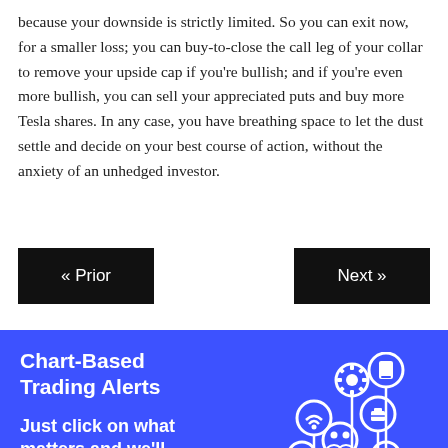because your downside is strictly limited. So you can exit now, for a smaller loss; you can buy-to-close the call leg of your collar to remove your upside cap if you're bullish; and if you're even more bullish, you can sell your appreciated puts and buy more Tesla shares. In any case, you have breathing space to let the dust settle and decide on your best course of action, without the anxiety of an unhedged investor.
[Figure (other): Navigation buttons: « Prior (left, black) and Next » (right, black)]
[Figure (infographic): Blue promotional banner for Chart-Based Trading Alerts with white icons of mobile phone, settings gear, wifi, briefcase, people/community, clock, and arrow. Text: 'Chart-Based Trading Alerts' and 'Just click on what matters and we'll keep an eye on it']